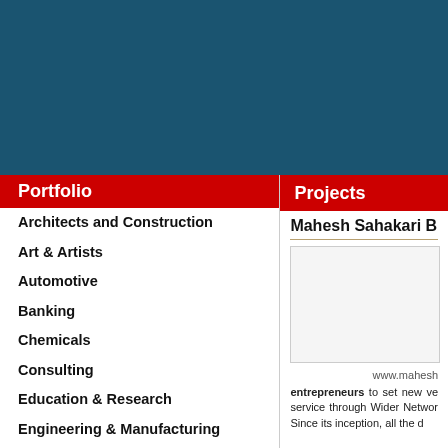[Figure (other): Dark teal/navy header banner background]
Portfolio
Projects
Architects and Construction
Art & Artists
Automotive
Banking
Chemicals
Consulting
Education & Research
Engineering & Manufacturing
Events & Entertainment
Finance & Wealth
Food & Agriculture
Mahesh Sahakari B
[Figure (photo): Project image placeholder box]
www.mahesh
entrepreneurs to set new ve service through Wider Networ Since its inception, all the d